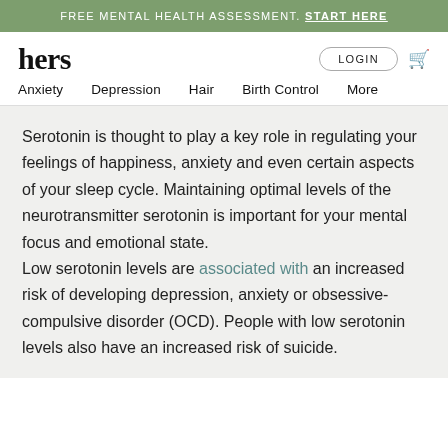FREE MENTAL HEALTH ASSESSMENT. START HERE
[Figure (logo): hers logo wordmark in bold serif font]
Anxiety  Depression  Hair  Birth Control  More
Serotonin is thought to play a key role in regulating your feelings of happiness, anxiety and even certain aspects of your sleep cycle. Maintaining optimal levels of the neurotransmitter serotonin is important for your mental focus and emotional state.
Low serotonin levels are associated with an increased risk of developing depression, anxiety or obsessive-compulsive disorder (OCD). People with low serotonin levels also have an increased risk of suicide.